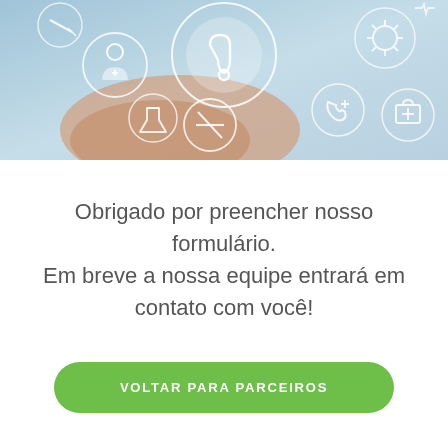[Figure (illustration): Medical/healthcare banner image with blue tones showing a hand and various white circular medical icons including a stethoscope, doctor, syringe, lab flask, no-smoking symbol, phone with cross, first aid kit, and virus/bacteria icon.]
Obrigado por preencher nosso formulário.
Em breve a nossa equipe entrará em contato com você!
VOLTAR PARA PARCEIROS